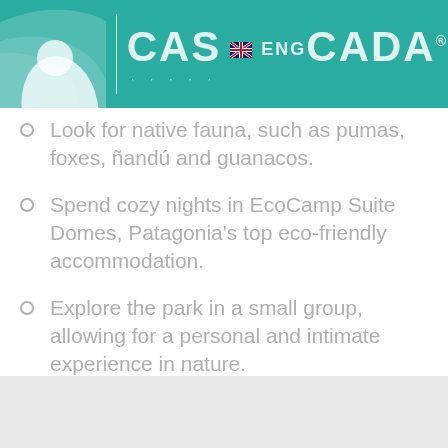[Figure (logo): Cascada Expediciones logo on teal/green header bar with leaf graphic and CASCADA text with flag icon]
Look for native fauna, such as pumas, foxes, ñandú and guanacos.
Spend cozy nights in EcoCamp Suite Domes, Patagonia's top eco-friendly accommodation.
Explore the park in a small group, allowing for a personal and intimate experience in nature.